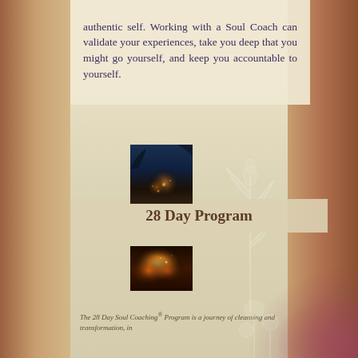authentic self. Working with a Soul Coach can validate your experiences, take you deep that you might go yourself, and keep you accountable to yourself.
[Figure (photo): Small photograph showing dark blue tones with light reflections, possibly water or night sky]
28 Day Program
[Figure (photo): Small photograph showing fire or flame imagery with orange and warm tones]
The 28 Day Soul Coaching® Program is a journey of cleansing and transformation, in